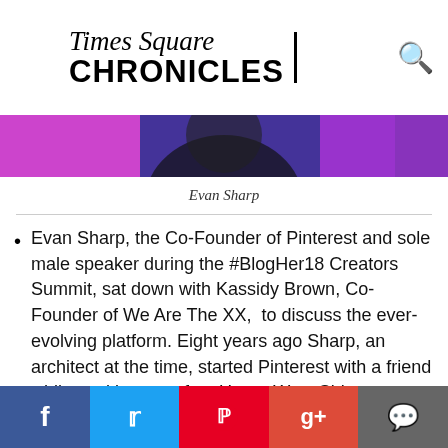Times Square CHRONICLES
[Figure (photo): Photo of Evan Sharp cropped, showing purple/blue tones at top of content area]
Evan Sharp
Evan Sharp, the Co-Founder of Pinterest and sole male speaker during the #BlogHer18 Creators Summit, sat down with Kassidy Brown, Co-Founder of We Are The XX,  to discuss the ever-evolving platform. Eight years ago Sharp, an architect at the time, started Pinterest with a friend while working out of an Upper West Side Wholefoods. Now with 200 million users per month, Sharp defined Pinterest to the audience as “being yourself and not your selfie,” he said
f  t  p  g+  chat